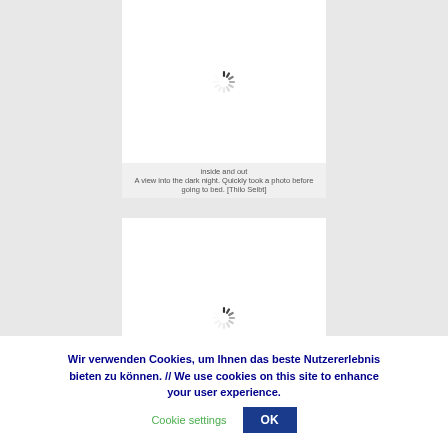[Figure (screenshot): White image placeholder box with a loading spinner (circular dashed/segmented spinner icon) centered in it, representing an image loading state. First image box.]
inside and out
A view into the dark night. Quickly took a photo before going to bed. [Thilo Seibt]
[Figure (screenshot): White image placeholder box with a loading spinner (circular dashed/segmented spinner icon) centered in it, representing an image loading state. Second image box.]
Wir verwenden Cookies, um Ihnen das beste Nutzererlebnis bieten zu können. // We use cookies on this site to enhance your user experience. Cookie settings OK